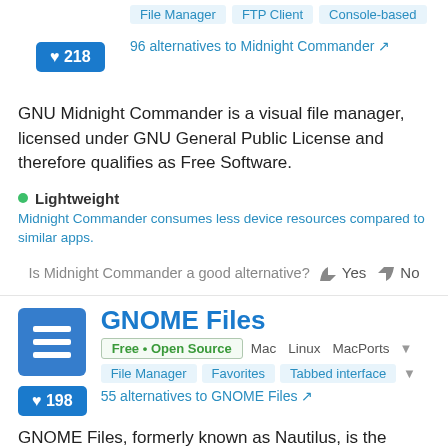File Manager  FTP Client  Console-based
96 alternatives to Midnight Commander
GNU Midnight Commander is a visual file manager, licensed under GNU General Public License and therefore qualifies as Free Software.
Lightweight
Midnight Commander consumes less device resources compared to similar apps.
Is Midnight Commander a good alternative? Yes  No
GNOME Files
Free • Open Source  Mac  Linux  MacPorts
File Manager  Favorites  Tabbed interface
55 alternatives to GNOME Files
GNOME Files, formerly known as Nautilus, is the official file